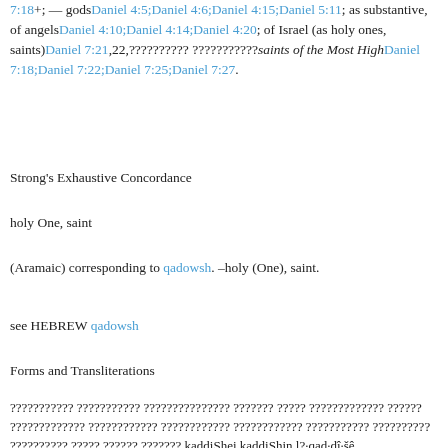7:18+; — gods Daniel 4:5;Daniel 4:6;Daniel 4:15;Daniel 5:11; as substantive, of angels Daniel 4:10;Daniel 4:14;Daniel 4:20; of Israel (as holy ones, saints) Daniel 7:21,22,?????????? ???????????saints of the Most High Daniel 7:18;Daniel 7:22;Daniel 7:25;Daniel 7:27.
Strong's Exhaustive Concordance
holy One, saint
(Aramaic) corresponding to qadowsh. –holy (One), saint.
see HEBREW qadowsh
Forms and Transliterations
??????????? ??????????? ??????????????? ??????? ????? ????????????? ?????? ????????????? ???????????? ???????????? ???????????? ??????????? ?????????? ?????????? ????? ?????? ??????? kaddiShei kaddiShin l?·qad·dî·šê